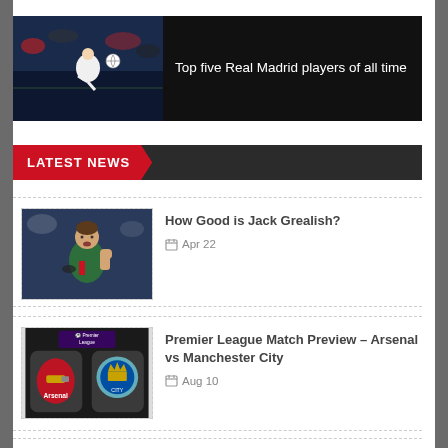[Figure (photo): Featured card: black background with a Real Madrid player in white jersey kicking a football, night match setting]
Top five Real Madrid players of all time
LATEST NEWS
[Figure (photo): Jack Grealish in green Aston Villa jersey, fist clenched in celebration]
How Good is Jack Grealish?
Apr 22
[Figure (photo): Premier League logo at top; Arsenal and Manchester City club crests side by side on dark background]
Premier League Match Preview – Arsenal vs Manchester City
Aug 10